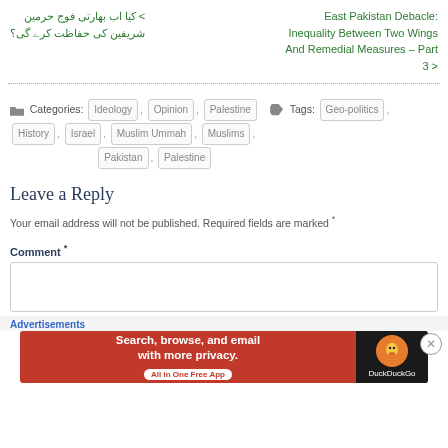< کیا اب بھارتی فوج حرمین شریفین کی حفاظت کرے گی؟
East Pakistan Debacle: Inequality Between Two Wings And Remedial Measures – Part 3 >
Categories: Ideology , Opinion , Palestine   Tags: Geo-politics , History , Israel , Muslim Ummah , Muslims , Pakistan , Palestine
Leave a Reply
Your email address will not be published. Required fields are marked *
Comment *
Advertisements
[Figure (other): DuckDuckGo advertisement banner: Search, browse, and email with more privacy. All in One Free App]